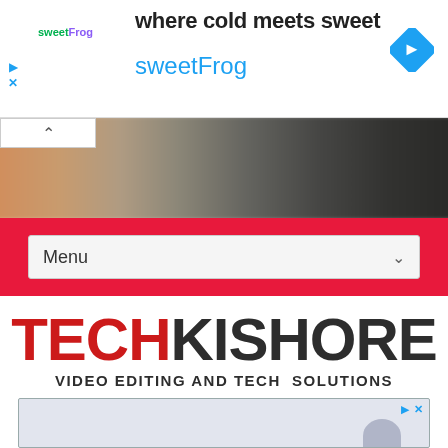[Figure (screenshot): SweetFrog advertisement banner with logo, tagline 'where cold meets sweet', brand name 'sweetFrog', and a blue diamond navigation icon. Play and close icons on the left.]
[Figure (photo): Blurred background image bar showing warm orange/brown tones on left transitioning to dark grey/black on right.]
[Figure (screenshot): Red navigation bar with a dropdown menu labeled 'Menu' with a chevron arrow.]
[Figure (logo): TechKishore logo with 'TECH' in red and 'KISHORE' in dark grey, bold uppercase letters. Subtitle reads 'VIDEO EDITING AND TECH SOLUTIONS'.]
[Figure (screenshot): Bottom advertisement box with light grey/blue background, play and close icons in top right corner, and a partial circular shape at bottom right.]